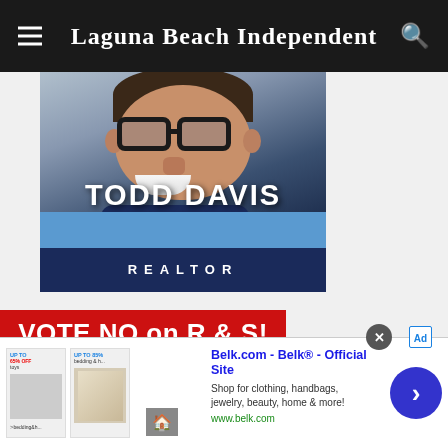Laguna Beach Independent
[Figure (photo): Advertisement for Todd Davis, Realtor — photo of man with glasses and dark blazer, with name TODD DAVIS and title REALTOR overlaid on a blue background bar]
[Figure (infographic): Political advertisement: VOTE NO on R & S! Let's Protect & Keep Laguna Local! — red and blue banner]
[Figure (screenshot): Belk.com advertisement overlay: Belk® - Official Site. Shop for clothing, handbags, jewelry, beauty, home & more! www.belk.com, with product thumbnails and navigation arrow]